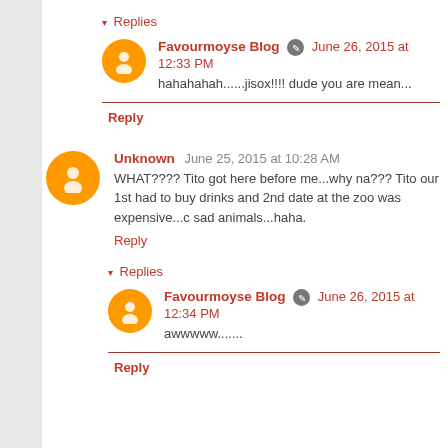▾ Replies
Favourmoyse Blog June 26, 2015 at 12:33 PM
hahahahah......jisox!!!! dude you are mean...
Reply
Unknown June 25, 2015 at 10:28 AM
WHAT???? Tito got here before me...why na??? Tito our 1st had to buy drinks and 2nd date at the zoo was expensive...c sad animals...haha.
Reply
▾ Replies
Favourmoyse Blog June 26, 2015 at 12:34 PM
awwwww.......
Reply